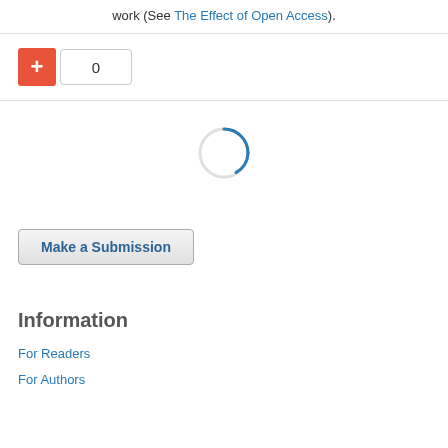work (See The Effect of Open Access).
[Figure (screenshot): Orange plus button and counter box showing 0]
[Figure (other): Loading spinner circle, partially blue arc on right side]
Make a Submission
Information
For Readers
For Authors